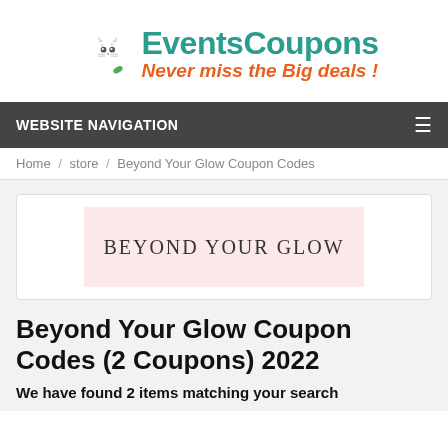[Figure (logo): EventsCoupons logo with cat mascot inside a green crescent moon shape, with text 'EventsCoupons' in teal and tagline 'Never miss the Big deals!' in orange italic]
WEBSITE NAVIGATION
Home / store / Beyond Your Glow Coupon Codes
[Figure (logo): Beyond Your Glow store logo on a pink/blush background]
Beyond Your Glow Coupon Codes (2 Coupons) 2022
We have found 2 items matching your search